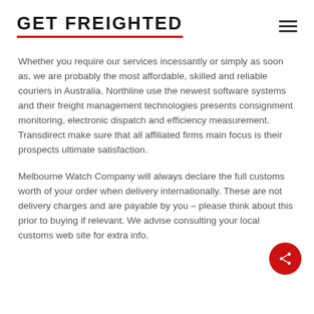GET FREIGHTED
Whether you require our services incessantly or simply as soon as, we are probably the most affordable, skilled and reliable couriers in Australia. Northline use the newest software systems and their freight management technologies presents consignment monitoring, electronic dispatch and efficiency measurement. Transdirect make sure that all affiliated firms main focus is their prospects ultimate satisfaction.
Melbourne Watch Company will always declare the full customs worth of your order when delivery internationally. These are not delivery charges and are payable by you – please think about this prior to buying if relevant. We advise consulting your local customs web site for extra info.